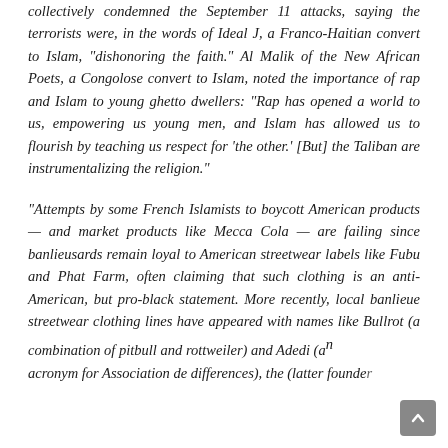collectively condemned the September 11 attacks, saying the terrorists were, in the words of Ideal J, a Franco-Haitian convert to Islam, "dishonoring the faith." Al Malik of the New African Poets, a Congolose convert to Islam, noted the importance of rap and Islam to young ghetto dwellers: "Rap has opened a world to us, empowering us young men, and Islam has allowed us to flourish by teaching us respect for 'the other.' [But] the Taliban are instrumentalizing the religion."
"Attempts by some French Islamists to boycott American products — and market products like Mecca Cola — are failing since banlieusards remain loyal to American streetwear labels like Fubu and Phat Farm, often claiming that such clothing is an anti-American, but pro-black statement. More recently, local banlieue streetwear clothing lines have appeared with names like Bullrot (a combination of pitbull and rottweiler) and Adedi (an acronym for Association de differences), the latter founde...